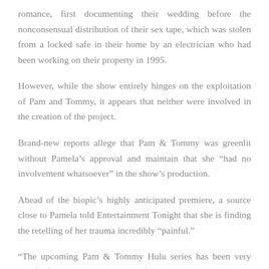romance, first documenting their wedding before the nonconsensual distribution of their sex tape, which was stolen from a locked safe in their home by an electrician who had been working on their property in 1995.
However, while the show entirely hinges on the exploitation of Pam and Tommy, it appears that neither were involved in the creation of the project.
Brand-new reports allege that Pam & Tommy was greenlit without Pamela’s approval and maintain that she “had no involvement whatsoever” in the show’s production.
Ahead of the biopic’s highly anticipated premiere, a source close to Pamela told Entertainment Tonight that she is finding the retelling of her trauma incredibly “painful.”
“The upcoming Pam & Tommy Hulu series has been very painful for Pamela Anderson and for anyone that loves